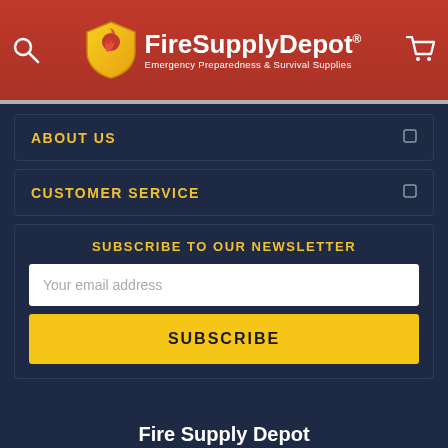[Figure (logo): FireSupplyDepot logo with red background, shield icon, and text 'FireSupplyDepot® Emergency Preparedness & Survival Supplies']
ABOUT US
CUSTOMER SERVICE
SUBSCRIBE TO OUR NEWSLETTER
Your email address
SUBSCRIBE
Fire Supply Depot
Home  Categories  Account  Contact  More